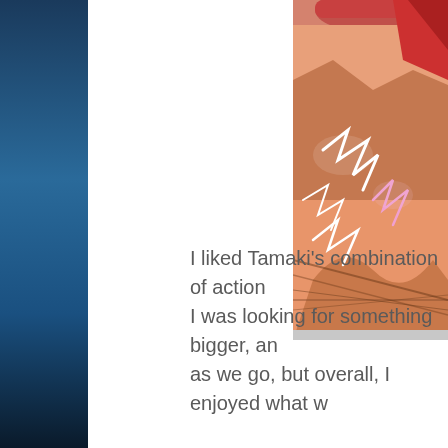[Figure (illustration): Comic book style illustration showing a figure with lightning/electric effects in warm orange and pink tones with white lightning bolt lines. Partial view cropped on right side of page.]
I liked Tamaki's combination of action I was looking for something bigger, an as we go, but overall, I enjoyed what w